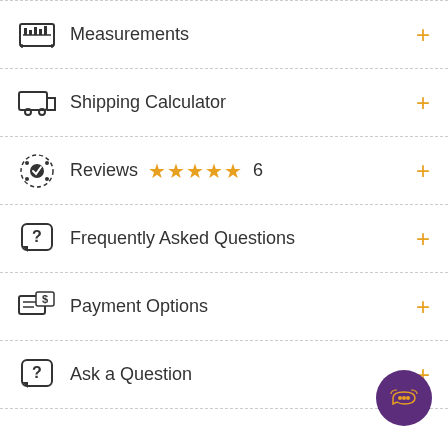Measurements
Shipping Calculator
Reviews ★★★★★ 6
Frequently Asked Questions
Payment Options
Ask a Question